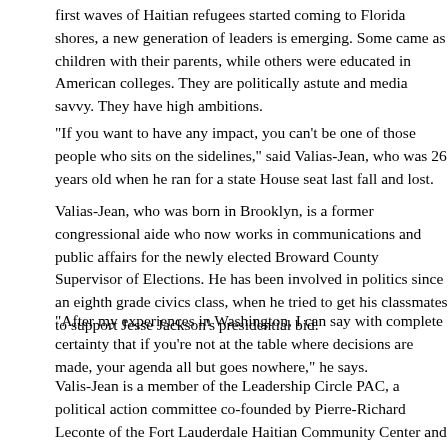first waves of Haitian refugees started coming to Florida shores, a new generation of leaders is emerging. Some came as children with their parents, while others were educated in American colleges. They are politically astute and media savvy. They have high ambitions.
"If you want to have any impact, you can't be one of those people who sits on the sidelines," said Valias-Jean, who was 26 years old when he ran for a state House seat last fall and lost.
Valias-Jean, who was born in Brooklyn, is a former congressional aide who now works in communications and public affairs for the newly elected Broward County Supervisor of Elections. He has been involved in politics since an eighth grade civics class, when he tried to get his classmates to support Jesse Jackson's presidential bid.
"After my experiences in Washington, I can say with complete certainty that if you're not at the table where decisions are made, your agenda all but goes nowhere," he says.
Valis-Jean is a member of the Leadership Circle PAC, a political action committee co-founded by Pierre-Richard Leconte of the Fort Lauderdale Haitian Community Center and six other Haitian-Americans to help identify emerging Haitian-American political leaders and support those already in office. The group also targets Haitian politicians who work on behalf of Haitian-American interests.